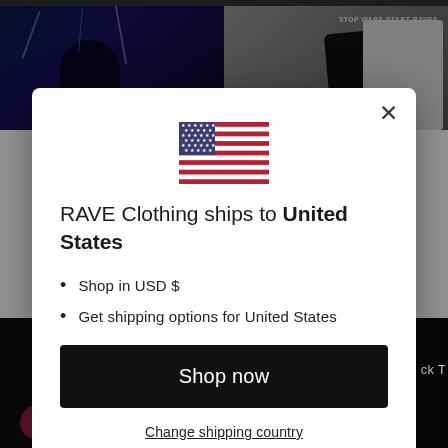[Figure (screenshot): Background showing a website with concert/rave photos in a grid layout, partially obscured by a dark overlay]
[Figure (screenshot): Modal dialog popup for RAVE Clothing shipping country selection, showing US flag, title, bullet points, Shop now button, and Change shipping country link]
RAVE Clothing ships to United States
Shop in USD $
Get shipping options for United States
Shop now
Change shipping country